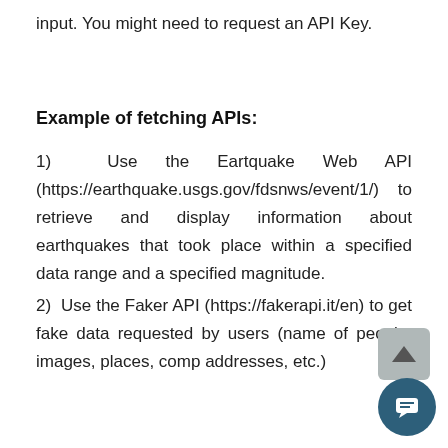input. You might need to request an API Key.
Example of fetching APIs:
1)  Use the Eartquake Web API (https://earthquake.usgs.gov/fdsnws/event/1/) to retrieve and display information about earthquakes that took place within a specified data range and a specified magnitude.
2)  Use the Faker API (https://fakerapi.it/en) to get fake data requested by users (name of people, images, places, comp addresses, etc.)